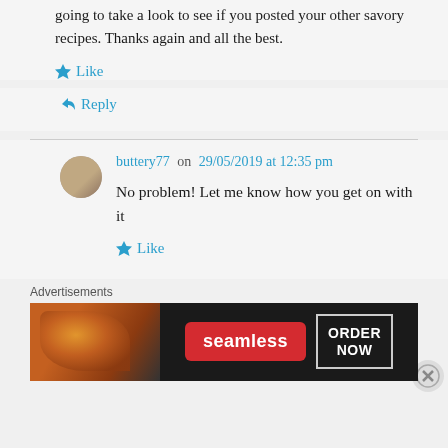going to take a look to see if you posted your other savory recipes. Thanks again and all the best.
★ Like
↪ Reply
buttery77 on 29/05/2019 at 12:35 pm
No problem! Let me know how you get on with it
★ Like
Advertisements
[Figure (photo): Seamless food delivery advertisement banner with pizza image on left, red Seamless logo in center, and 'ORDER NOW' button on right against dark background]